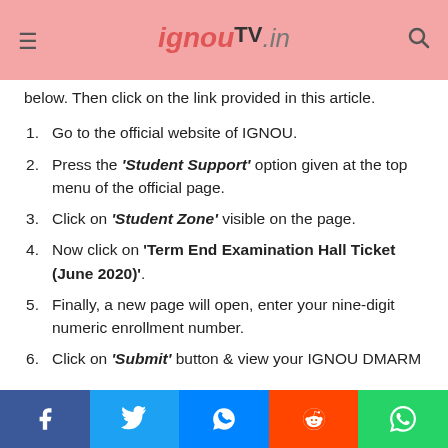ignouTV.in
below. Then click on the link provided in this article.
1. Go to the official website of IGNOU.
2. Press the 'Student Support' option given at the top menu of the official page.
3. Click on 'Student Zone' visible on the page.
4. Now click on 'Term End Examination Hall Ticket (June 2020)'.
5. Finally, a new page will open, enter your nine-digit numeric enrollment number.
6. Click on 'Submit' button & view your IGNOU DMARM
Facebook  Twitter  Messenger  Reddit  WhatsApp